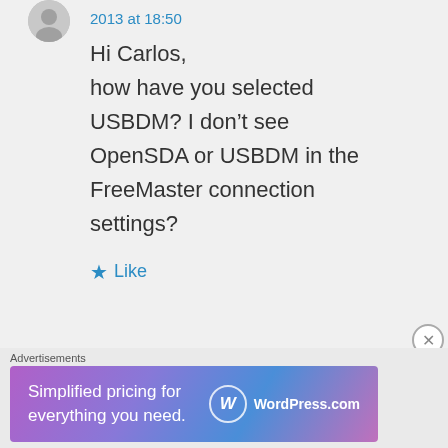2013 at 18:50
Hi Carlos, how have you selected USBDM? I don't see OpenSDA or USBDM in the FreeMaster connection settings?
★ Like
Tomas Vaverka on August 26, 2013 at 20:07
Advertisements
[Figure (screenshot): WordPress.com advertisement banner: 'Simplified pricing for everything you need.' with WordPress.com logo on gradient background.]